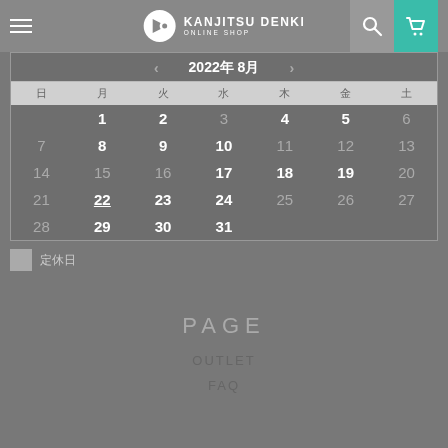KANJITSU DENKI ONLINE SHOP
| 日 | 月 | 火 | 水 | 木 | 金 | 土 |
| --- | --- | --- | --- | --- | --- | --- |
|  | 1 | 2 | 3 | 4 | 5 | 6 |
| 7 | 8 | 9 | 10 | 11 | 12 | 13 |
| 14 | 15 | 16 | 17 | 18 | 19 | 20 |
| 21 | 22 | 23 | 24 | 25 | 26 | 27 |
| 28 | 29 | 30 | 31 |  |  |  |
定休日
PAGE
OUTLET
FAQ